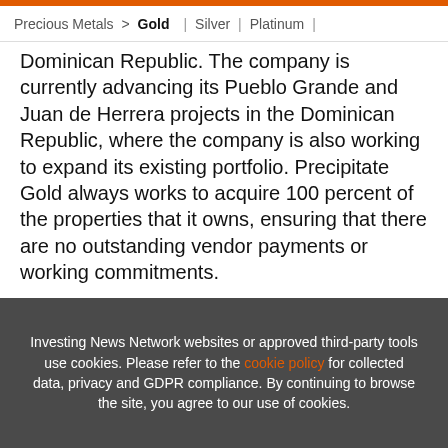Precious Metals > Gold | Silver | Platinum |
Dominican Republic. The company is currently advancing its Pueblo Grande and Juan de Herrera projects in the Dominican Republic, where the company is also working to expand its existing portfolio. Precipitate Gold always works to acquire 100 percent of the properties that it owns, ensuring that there are no outstanding vendor payments or working commitments.
[Figure (screenshot): Advertisement banner for 2022 Precious Metals Outlook Report by INN. Updated Aug 19, 2022. Shows book cover with orange design.]
Investing News Network websites or approved third-party tools use cookies. Please refer to the cookie policy for collected data, privacy and GDPR compliance. By continuing to browse the site, you agree to our use of cookies.